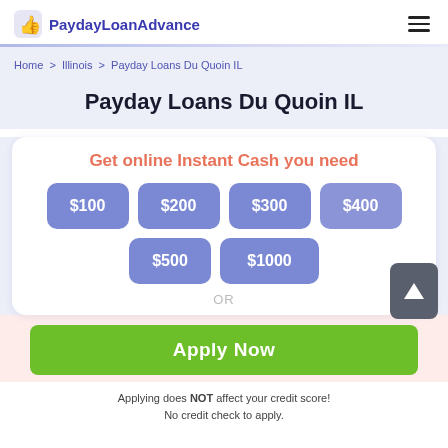PaydayLoanAdvance
Home > Illinois > Payday Loans Du Quoin IL
Payday Loans Du Quoin IL
Get online Instant Cash you need
$100
$200
$300
$400
$500
$1000
OR
Apply Now
Applying does NOT affect your credit score!
No credit check to apply.